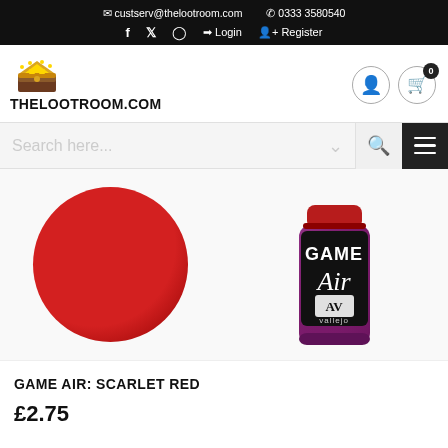custserv@thelootroom.com | 0333 3580540 | Facebook | Twitter | Instagram | Login | Register
[Figure (logo): The Loot Room website logo with treasure chest icon and text THELOOTROOM.COM]
[Figure (screenshot): Search bar with placeholder text 'Search here...' and navigation icons including hamburger menu]
[Figure (photo): Product image showing a large red circle swatch on the left and a Vallejo Game Air paint bottle on the right with purple smoke background]
GAME AIR: SCARLET RED
£2.75